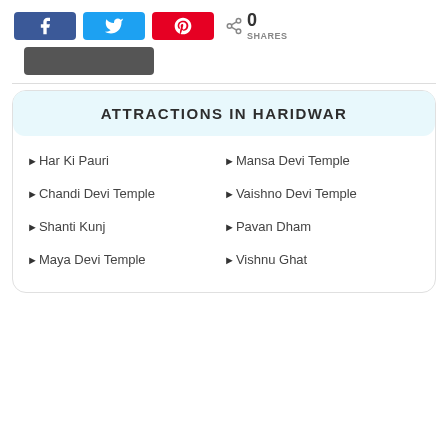[Figure (infographic): Social share buttons: Facebook (blue), Twitter (light blue), Pinterest (red), and a share count showing 0 SHARES]
[Figure (other): Dark gray rounded rectangle image placeholder]
ATTRACTIONS IN HARIDWAR
►Har Ki Pauri
►Mansa Devi Temple
►Chandi Devi Temple
►Vaishno Devi Temple
►Shanti Kunj
►Pavan Dham
►Maya Devi Temple
►Vishnu Ghat